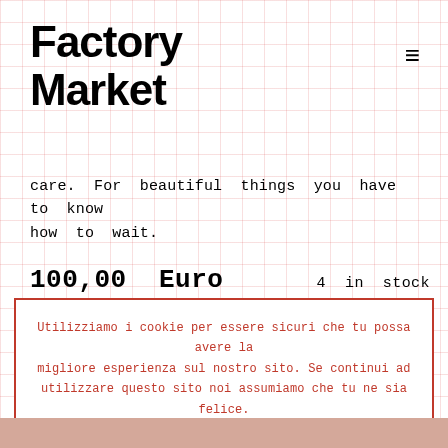Factory Market
care. For beautiful things you have to know how to wait.
100,00 Euro    4 in stock
Add to basket
Utilizziamo i cookie per essere sicuri che tu possa avere la migliore esperienza sul nostro sito. Se continui ad utilizzare questo sito noi assumiamo che tu ne sia felice.
Ok
Privacy policy